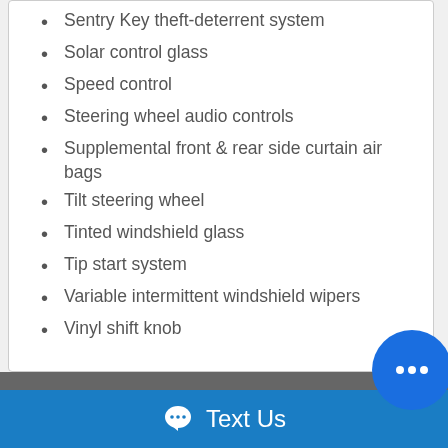Sentry Key theft-deterrent system
Solar control glass
Speed control
Steering wheel audio controls
Supplemental front & rear side curtain air bags
Tilt steering wheel
Tinted windshield glass
Tip start system
Variable intermittent windshield wipers
Vinyl shift knob
Photos
Text Us